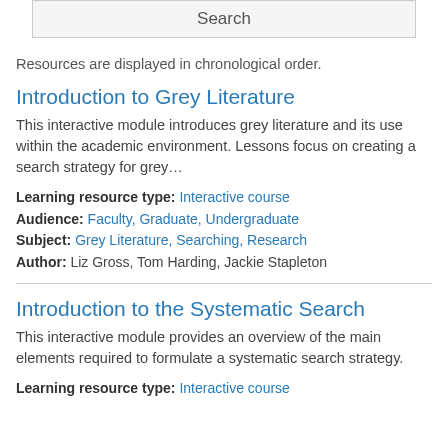Search
Resources are displayed in chronological order.
Introduction to Grey Literature
This interactive module introduces grey literature and its use within the academic environment. Lessons focus on creating a search strategy for grey…
Learning resource type: Interactive course
Audience: Faculty, Graduate, Undergraduate
Subject: Grey Literature, Searching, Research
Author: Liz Gross, Tom Harding, Jackie Stapleton
Introduction to the Systematic Search
This interactive module provides an overview of the main elements required to formulate a systematic search strategy.
Learning resource type: Interactive course